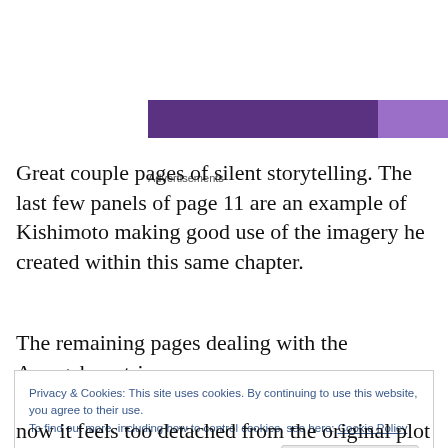[Figure (other): Advertisement banner with two purple sections: a dark purple left section and a lighter purple right section.]
Great couple pages of silent storytelling. The last few panels of page 11 are an example of Kishimoto making good use of the imagery he created within this same chapter.
The remaining pages dealing with the Amegakure trio are
Privacy & Cookies: This site uses cookies. By continuing to use this website, you agree to their use.
To find out more, including how to control cookies, see here: Cookie Policy
now it feels too detached from the original plot involving